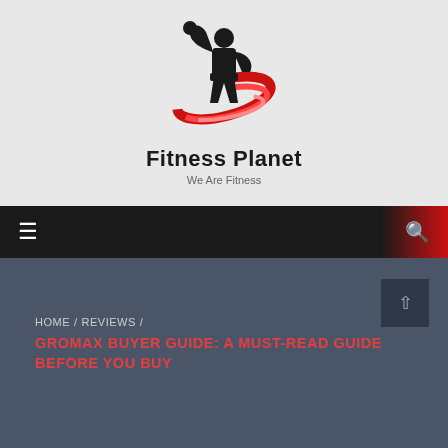[Figure (logo): Fitness Planet logo — muscular figure flexing with red swoosh curves around it]
Fitness Planet
We Are Fitness
☰  🔍
HOME / REVIEWS / GROMAX BUYER GUIDE: A MUST-READ GUIDE BEFORE YOU BUY